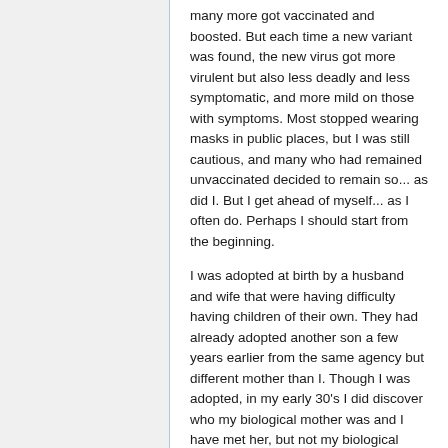many more got vaccinated and boosted. But each time a new variant was found, the new virus got more virulent but also less deadly and less symptomatic, and more mild on those with symptoms. Most stopped wearing masks in public places, but I was still cautious, and many who had remained unvaccinated decided to remain so... as did I. But I get ahead of myself... as I often do. Perhaps I should start from the beginning.
I was adopted at birth by a husband and wife that were having difficulty having children of their own. They had already adopted another son a few years earlier from the same agency but different mother than I. Though I was adopted, in my early 30's I did discover who my biological mother was and I have met her, but not my biological father. I live on